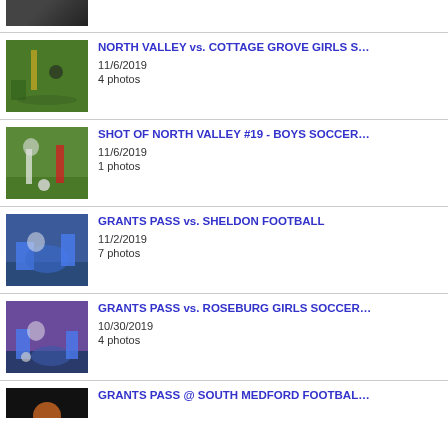[Figure (photo): Partial sports photo at top (truncated)]
NORTH VALLEY vs. COTTAGE GROVE GIRLS S… | 11/6/2019 | 4 photos
SHOT OF NORTH VALLEY #19 - BOYS SOCCER | 11/6/2019 | 1 photos
GRANTS PASS vs. SHELDON FOOTBALL | 11/2/2019 | 7 photos
GRANTS PASS vs. ROSEBURG GIRLS SOCCER | 10/30/2019 | 4 photos
GRANTS PASS @ SOUTH MEDFORD FOOTBALL (truncated)